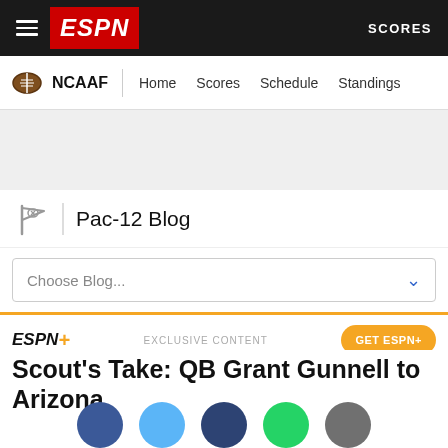ESPN SCORES
NCAAF  Home  Scores  Schedule  Standings
[Figure (other): Gray advertisement placeholder area]
Pac-12 Blog
Choose Blog...
ESPN+  EXCLUSIVE CONTENT  GET ESPN+
Scout's Take: QB Grant Gunnell to Arizona
[Figure (other): Social media sharing icons: Facebook (dark blue), Twitter (light blue), LinkedIn (dark blue), WhatsApp (green), More (gray)]